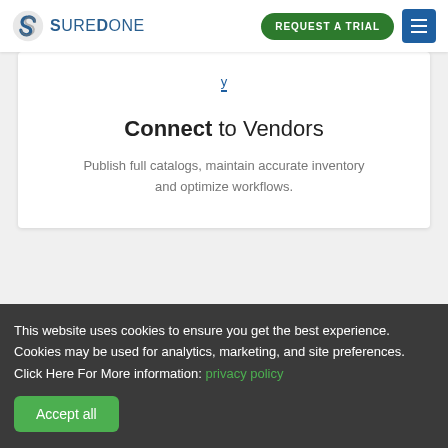[Figure (logo): SureDone logo with circular S icon in blue/grey and text 'SureDone' in blue]
REQUEST A TRIAL
Connect to Vendors
Publish full catalogs, maintain accurate inventory and optimize workflows.
This website uses cookies to ensure you get the best experience. Cookies may be used for analytics, marketing, and site preferences. Click Here For More information: privacy policy
Accept all